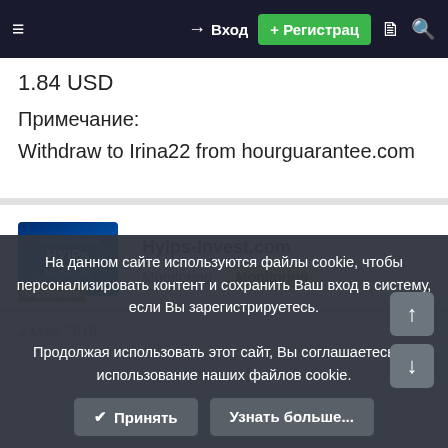≡  → Вход  + Регистрац  🗎  🔍
1.84 USD
Примечание:
Withdraw to Irina22 from hourguarantee.com
Hyips-Invest.com
Monitoring  Monitoring
Оффлайн
2 Май 2018  #17
На данном сайте используются файлы cookie, чтобы персонализировать контент и сохранить Ваш вход в систему, если Вы зарегистрируетесь.
Продолжая использовать этот сайт, Вы соглашаетесь на использование наших файлов cookie.
✔ Принять  Узнать больше...